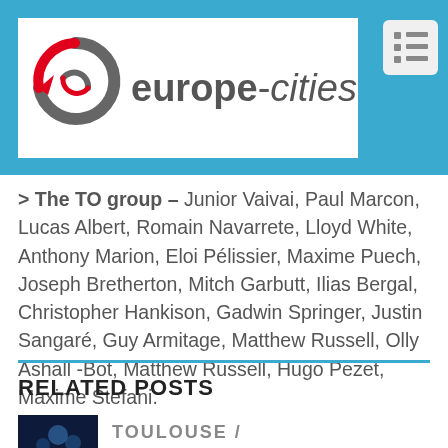europe-cities
> The TO group – Junior Vaivai, Paul Marcon, Lucas Albert, Romain Navarrete, Lloyd White, Anthony Marion, Eloi Pélissier, Maxime Puech, Joseph Bretherton, Mitch Garbutt, Ilias Bergal, Christopher Hankison, Gadwin Springer, Justin Sangaré, Guy Armitage, Matthew Russell, Olly Ashall -Bot, Matthew Russell, Hugo Pezet, Maxime Stefani.
RELATED POSTS
TOULOUSE /